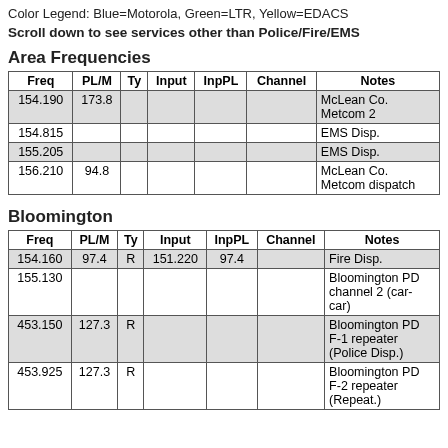Color Legend: Blue=Motorola, Green=LTR, Yellow=EDACS
Scroll down to see services other than Police/Fire/EMS
Area Frequencies
| Freq | PL/M | Ty | Input | InpPL | Channel | Notes |
| --- | --- | --- | --- | --- | --- | --- |
| 154.190 | 173.8 |  |  |  |  | McLean Co. Metcom 2 |
| 154.815 |  |  |  |  |  | EMS Disp. |
| 155.205 |  |  |  |  |  | EMS Disp. |
| 156.210 | 94.8 |  |  |  |  | McLean Co. Metcom dispatch |
Bloomington
| Freq | PL/M | Ty | Input | InpPL | Channel | Notes |
| --- | --- | --- | --- | --- | --- | --- |
| 154.160 | 97.4 | R | 151.220 | 97.4 |  | Fire Disp. |
| 155.130 |  |  |  |  |  | Bloomington PD channel 2 (car-car) |
| 453.150 | 127.3 | R |  |  |  | Bloomington PD F-1 repeater (Police Disp.) |
| 453.925 | 127.3 | R |  |  |  | Bloomington PD F-2 repeater (Repeat.) |